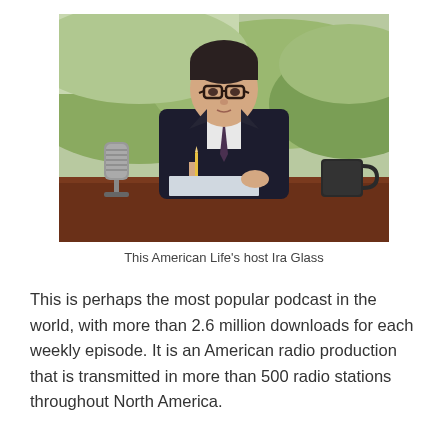[Figure (photo): A man in a dark suit and tie sits at a wooden desk with a vintage microphone to his left and a dark mug to his right. He holds a pencil over paper. Behind him is a scenic outdoor background of green hills. The man is wearing glasses.]
This American Life's host Ira Glass
This is perhaps the most popular podcast in the world, with more than 2.6 million downloads for each weekly episode. It is an American radio production that is transmitted in more than 500 radio stations throughout North America.